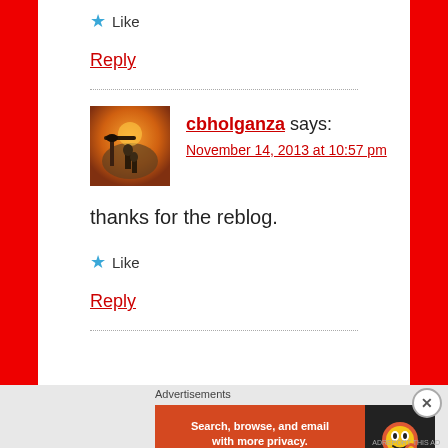★ Like
Reply
cbholganza says:
November 14, 2013 at 10:57 pm
thanks for the reblog.
★ Like
Reply
Advertisements
[Figure (screenshot): DuckDuckGo advertisement banner: orange background with text 'Search, browse, and email with more privacy. All in One Free App' and DuckDuckGo logo on dark background]